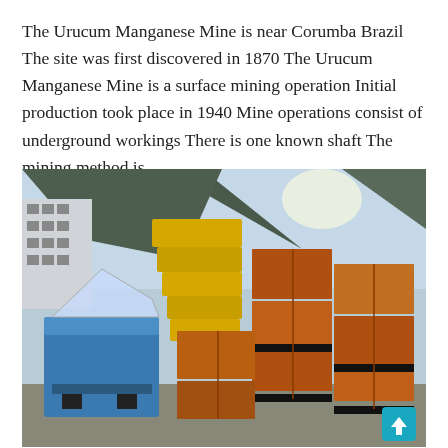The Urucum Manganese Mine is near Corumba Brazil The site was first discovered in 1870 The Urucum Manganese Mine is a surface mining operation Initial production took place in 1940 Mine operations consist of underground workings There is one known shaft The mining method is
[Figure (photo): Photograph of mining equipment and materials outdoors — stacked yellow and orange metal frames/sections and a blue machine, with a building and trees visible in the background.]